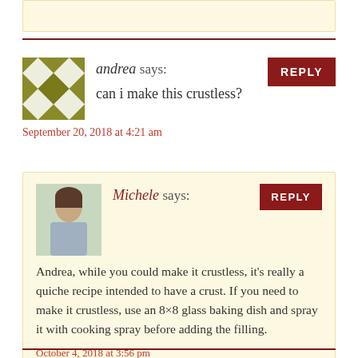[Figure (other): Top beige comment box truncated at page top]
andrea says:
can i make this crustless?
September 20, 2018 at 4:21 am
Michele says:
Andrea, while you could make it crustless, it's really a quiche recipe intended to have a crust. If you need to make it crustless, use an 8×8 glass baking dish and spray it with cooking spray before adding the filling.
October 4, 2018 at 3:56 pm